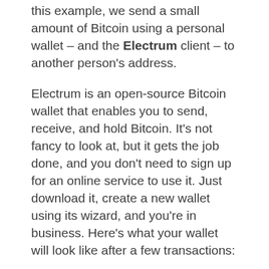this example, we send a small amount of Bitcoin using a personal wallet – and the Electrum client – to another person's address.
Electrum is an open-source Bitcoin wallet that enables you to send, receive, and hold Bitcoin. It's not  fancy to look at, but it gets the job done, and you don't need to sign up for an online service to use it. Just download it, create a new wallet using its wizard, and you're in business. Here's what your wallet will look like after a few transactions: